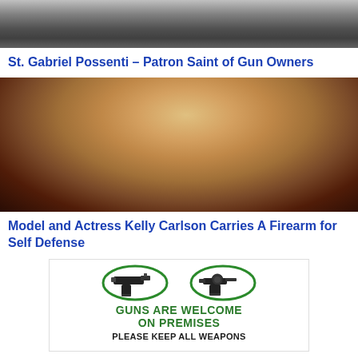[Figure (photo): Partial top of a photo showing what appears to be a dark metallic object, likely a gun or handcuffs, cropped at top of page]
St. Gabriel Possenti – Patron Saint of Gun Owners
[Figure (photo): Photo of a blonde woman, model and actress Kelly Carlson, posing in a glamour/fashion style photo]
Model and Actress Kelly Carlson Carries A Firearm for Self Defense
[Figure (infographic): Sign showing two gun illustrations with green circles, text reading GUNS ARE WELCOME ON PREMISES PLEASE KEEP ALL WEAPONS]